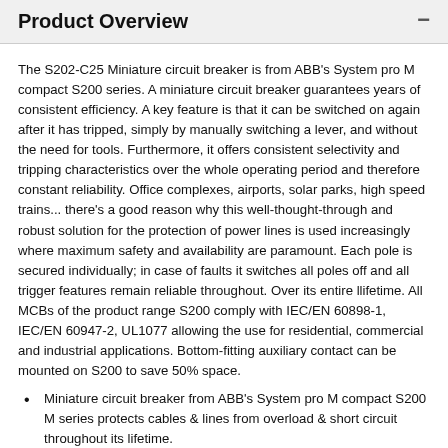Product Overview
The S202-C25 Miniature circuit breaker is from ABB's System pro M compact S200 series. A miniature circuit breaker guarantees years of consistent efficiency. A key feature is that it can be switched on again after it has tripped, simply by manually switching a lever, and without the need for tools. Furthermore, it offers consistent selectivity and tripping characteristics over the whole operating period and therefore constant reliability. Office complexes, airports, solar parks, high speed trains... there's a good reason why this well-thought-through and robust solution for the protection of power lines is used increasingly where maximum safety and availability are paramount. Each pole is secured individually; in case of faults it switches all poles off and all trigger features remain reliable throughout. Over its entire llifetime. All MCBs of the product range S200 comply with IEC/EN 60898-1, IEC/EN 60947-2, UL1077 allowing the use for residential, commercial and industrial applications. Bottom-fitting auxiliary contact can be mounted on S200 to save 50% space.
Miniature circuit breaker from ABB's System pro M compact S200 M series protects cables & lines from overload & short circuit throughout its lifetime.